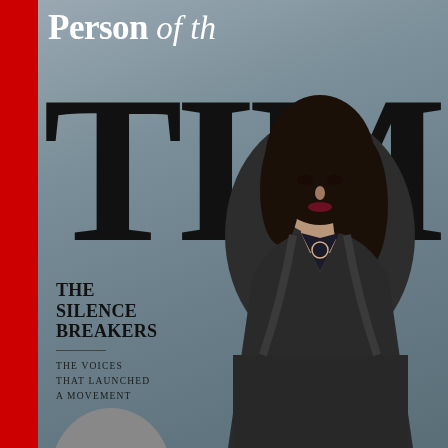[Figure (photo): TIME magazine cover for Person of the Year 2017: 'The Silence Breakers – The Voices That Launched a Movement'. Features a woman (Ashley Judd) in a dark blazer against a grey-blue background, with giant 'TIM' letters behind her. A red vertical bar on the left edge. Text overlay: 'Person of the Year', 'THE SILENCE BREAKERS', 'THE VOICES THAT LAUNCHED A MOVEMENT'.]